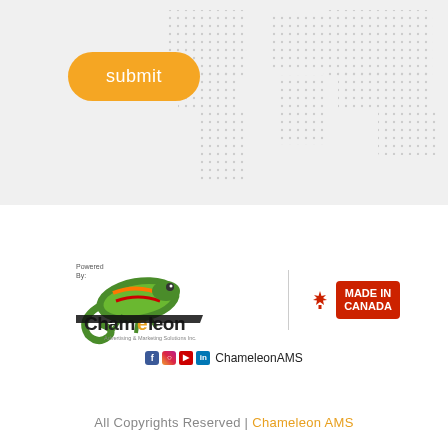[Figure (other): Gray background section with dotted world map pattern on the right side and a yellow/orange rounded submit button on the left]
submit
[Figure (logo): Powered by Chameleon Advertising & Marketing Solutions Inc. logo with chameleon graphic, Made in Canada badge with maple leaf, and social media icons row: f o YouTube LinkedIn ChameleonAMS]
All Copyrights Reserved | Chameleon AMS